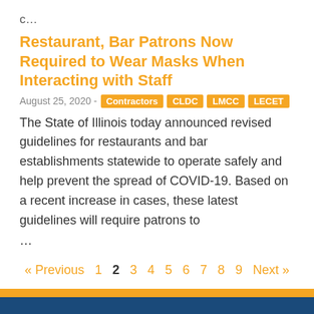c…
Restaurant, Bar Patrons Now Required to Wear Masks When Interacting with Staff
August 25, 2020 - Contractors CLDC LMCC LECET
The State of Illinois today announced revised guidelines for restaurants and bar establishments statewide to operate safely and help prevent the spread of COVID-19. Based on a recent increase in cases, these latest guidelines will require patrons to
…
« Previous 1 2 3 4 5 6 7 8 9 Next »